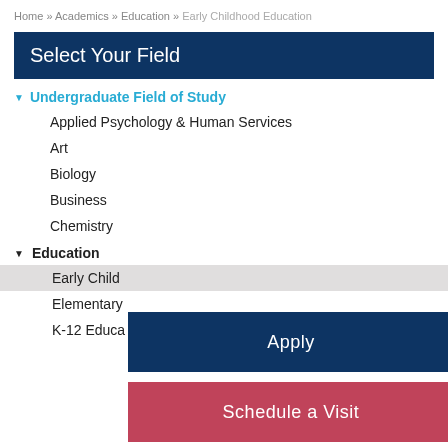Home » Academics » Education » Early Childhood Education
Select Your Field
Undergraduate Field of Study
Applied Psychology & Human Services
Art
Biology
Business
Chemistry
Education
Early Childhood Education
Elementary
K-12 Education
Apply
Schedule a Visit